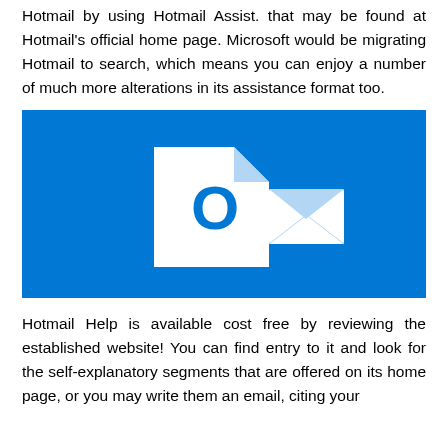Hotmail by using Hotmail Assist. that may be found at Hotmail's official home page. Microsoft would be migrating Hotmail to search, which means you can enjoy a number of much more alterations in its assistance format too.
[Figure (illustration): Microsoft Outlook logo on a blue background showing a stylized white 'O' envelope/folder icon and a white envelope icon]
Hotmail Help is available cost free by reviewing the established website! You can find entry to it and look for the self-explanatory segments that are offered on its home page, or you may write them an email, citing your